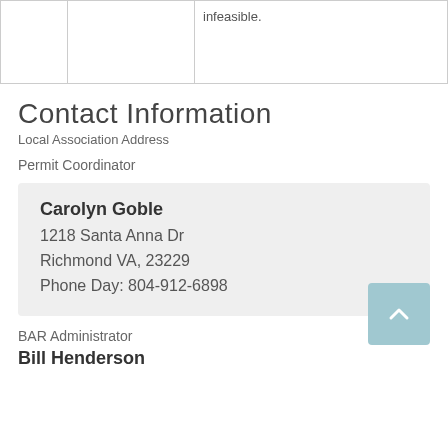|  |  |  |
| --- | --- | --- |
|  |  | infeasible. |
Contact Information
Local Association Address
Permit Coordinator
Carolyn Goble
1218 Santa Anna Dr
Richmond VA, 23229
Phone Day: 804-912-6898
BAR Administrator
Bill Henderson